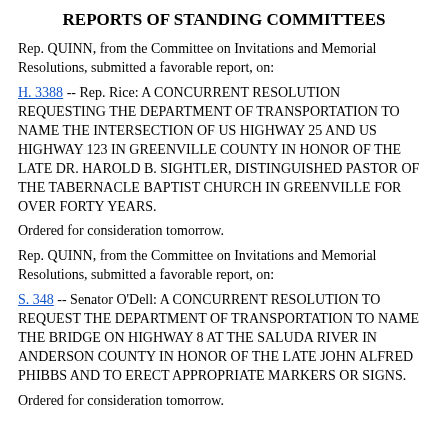REPORTS OF STANDING COMMITTEES
Rep. QUINN, from the Committee on Invitations and Memorial Resolutions, submitted a favorable report, on:
H. 3388 -- Rep. Rice: A CONCURRENT RESOLUTION REQUESTING THE DEPARTMENT OF TRANSPORTATION TO NAME THE INTERSECTION OF US HIGHWAY 25 AND US HIGHWAY 123 IN GREENVILLE COUNTY IN HONOR OF THE LATE DR. HAROLD B. SIGHTLER, DISTINGUISHED PASTOR OF THE TABERNACLE BAPTIST CHURCH IN GREENVILLE FOR OVER FORTY YEARS.
Ordered for consideration tomorrow.
Rep. QUINN, from the Committee on Invitations and Memorial Resolutions, submitted a favorable report, on:
S. 348 -- Senator O'Dell: A CONCURRENT RESOLUTION TO REQUEST THE DEPARTMENT OF TRANSPORTATION TO NAME THE BRIDGE ON HIGHWAY 8 AT THE SALUDA RIVER IN ANDERSON COUNTY IN HONOR OF THE LATE JOHN ALFRED PHIBBS AND TO ERECT APPROPRIATE MARKERS OR SIGNS.
Ordered for consideration tomorrow.